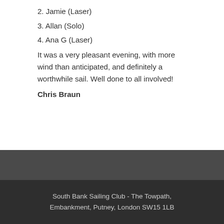2. Jamie (Laser)
3. Allan (Solo)
4. Ana G (Laser)
It was a very pleasant evening, with more wind than anticipated, and definitely a worthwhile sail. Well done to all involved!
Chris Braun
South Bank Sailing Club - The Towpath, Embankment, Putney, London SW15 1LB